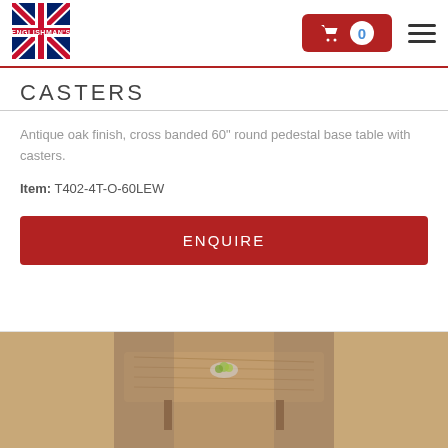[Figure (logo): Englishman's logo with Union Jack flag design]
[Figure (other): Shopping cart button with count 0 and hamburger menu icon]
CASTERS
Antique oak finish, cross banded 60" round pedestal base table with casters.
Item: T402-4T-O-60LEW
ENQUIRE
[Figure (photo): Photo of an antique oak finish wooden table]